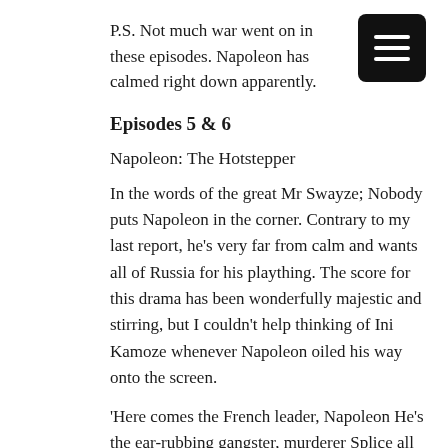P.S. Not much war went on in these episodes. Napoleon has calmed right down apparently.
[Figure (other): Black square menu/hamburger button icon with three white horizontal lines]
Episodes 5 & 6
Napoleon: The Hotstepper
In the words of the great Mr Swayze; Nobody puts Napoleon in the corner. Contrary to my last report, he's very far from calm and wants all of Russia for his plaything. The score for this drama has been wonderfully majestic and stirring, but I couldn't help thinking of Ini Kamoze whenever Napoleon oiled his way onto the screen.
'Here comes the French leader, Napoleon He's the ear-rubbing gangster, murderer Splice all de men in de area, Napoleon Or blow dem up like dat, murderer!' He swaggers into the chandelier-laden glamping-style tent, flourishes his